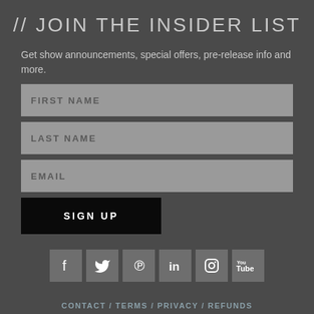// JOIN THE INSIDER LIST
Get show announcements, special offers, pre-release info and more.
[Figure (other): Web form with three input fields labeled FIRST NAME, LAST NAME, EMAIL, and a SIGN UP button]
[Figure (other): Social media icons row: Facebook, Twitter, Pinterest, LinkedIn, Instagram, YouTube]
CONTACT / TERMS / PRIVACY / REFUNDS
© 2022 BLACKBIRD PRESENTS ALL RIGHTS RESERVED.